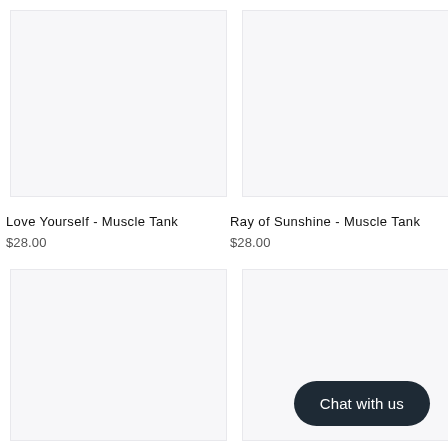[Figure (photo): Product image placeholder for Love Yourself - Muscle Tank, light gray background]
[Figure (photo): Product image placeholder for Ray of Sunshine - Muscle Tank, light gray background]
Love Yourself - Muscle Tank
$28.00
Ray of Sunshine - Muscle Tank
$28.00
[Figure (photo): Product image placeholder, bottom left, light gray background]
[Figure (photo): Product image placeholder, bottom right, light gray background]
Chat with us